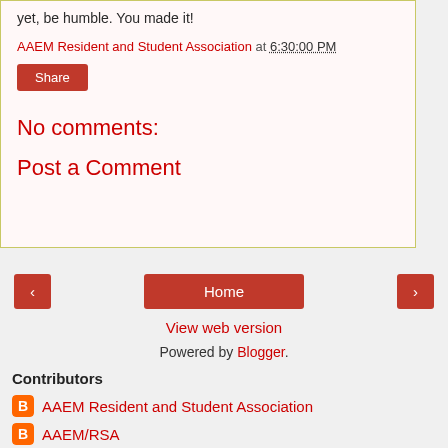yet, be humble. You made it!
AAEM Resident and Student Association at 6:30:00 PM
Share
No comments:
Post a Comment
Home
View web version
Powered by Blogger.
Contributors
AAEM Resident and Student Association
AAEM/RSA